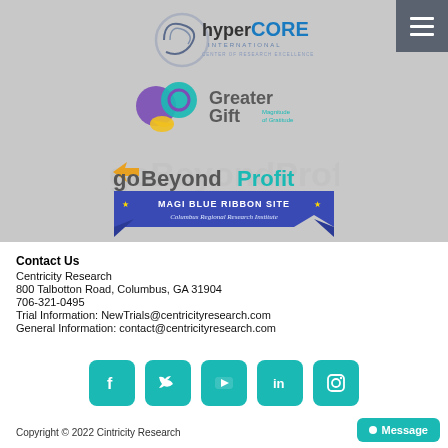[Figure (logo): hyperCORE International logo - circular swirl design with text]
[Figure (logo): Greater Gift - Magnitude of Gratitude logo with colorful circular shapes]
[Figure (logo): goBeyondProfit logo with orange arrow]
[Figure (logo): MAGI Blue Ribbon Site - Columbus Regional Research Institute banner]
Contact Us
Centricity Research
800 Talbotton Road, Columbus, GA 31904
706-321-0495
Trial Information: NewTrials@centricityresearch.com
General Information: contact@centricityresearch.com
[Figure (infographic): Social media icons: Facebook, Twitter, YouTube, LinkedIn, Instagram]
Copyright © 2022 Cintricity Research